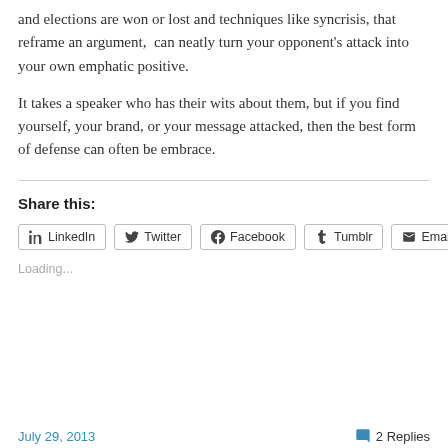and elections are won or lost and techniques like syncrisis, that reframe an argument,  can neatly turn your opponent's attack into your own emphatic positive.
It takes a speaker who has their wits about them, but if you find yourself, your brand, or your message attacked, then the best form of defense can often be embrace.
Share this:
LinkedIn  Twitter  Facebook  Tumblr  Email
Loading...
July 29, 2013   2 Replies